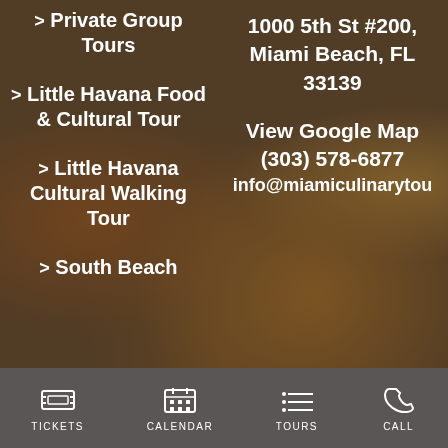> Private Group Tours
1000 5th St #200, Miami Beach, FL 33139
> Little Havana Food & Cultural Tour
View Google Map
(303) 578-6877
info@miamiculinarytou
> Little Havana Cultural Walking Tour
> South Beach
TICKETS  CALENDAR  TOURS  CALL